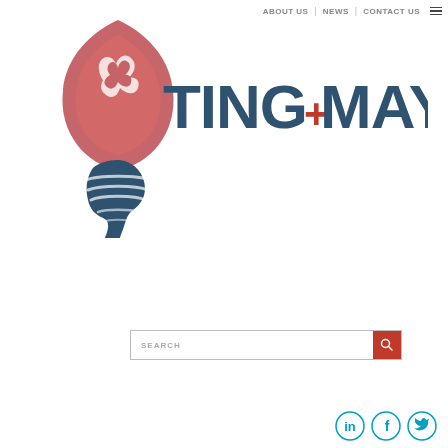ABOUT US | NEWS | CONTACT US
[Figure (logo): Tingmay logo: a torch with a phoenix flame in red/pink at the top and a dark blue hand holding the torch base with WiFi-like arc lines. To the right is the text TING+MAY in dark blue bold letters with a red plus sign.]
[Figure (screenshot): Search bar with placeholder text SEARCH and a red search button with magnifying glass icon]
[Figure (logo): Social media icons: LinkedIn, Facebook, Twitter in teal/cyan circular outlines]